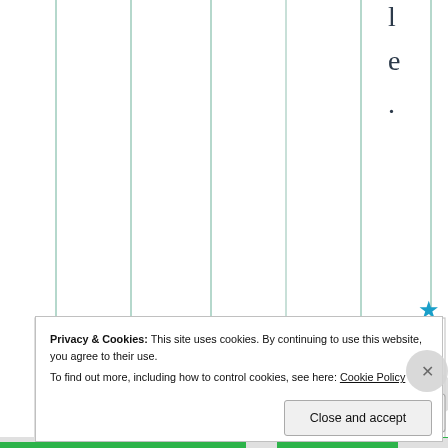[Figure (screenshot): Partial view of a webpage with vertical column grid lines and right sidebar showing text characters 'l', 'e', '.', a blue star icon, 'Liked by 2 people' text, and a partial profile photo]
Privacy & Cookies: This site uses cookies. By continuing to use this website, you agree to their use. To find out more, including how to control cookies, see here: Cookie Policy
Close and accept